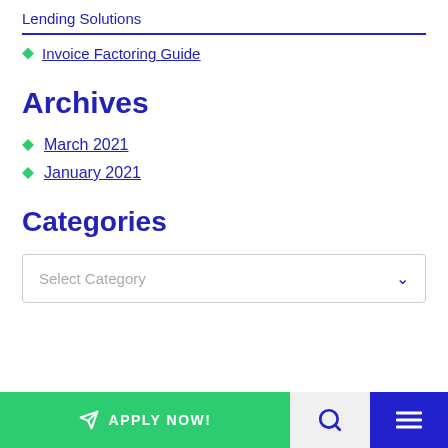Lending Solutions
Invoice Factoring Guide
Archives
March 2021
January 2021
Categories
Select Category